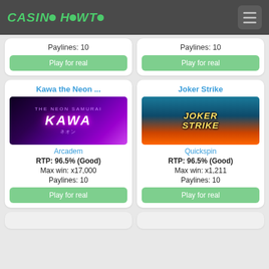CASINO HOWTO
Paylines: 10
Play for real
Paylines: 10
Play for real
Kawa the Neon ...
Joker Strike
[Figure (photo): Kawa the Neon Samurai game thumbnail with purple neon city background and KAWA text]
[Figure (photo): Joker Strike game thumbnail with colorful joker character on teal/orange background]
Arcadem
RTP: 96.5% (Good)
Max win: x17,000
Paylines: 10
Play for real
Quickspin
RTP: 96.5% (Good)
Max win: x1,211
Paylines: 10
Play for real